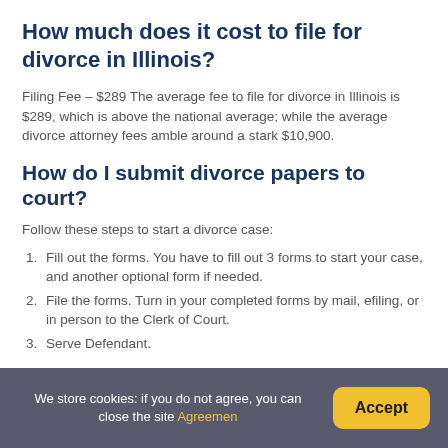How much does it cost to file for divorce in Illinois?
Filing Fee – $289 The average fee to file for divorce in Illinois is $289, which is above the national average; while the average divorce attorney fees amble around a stark $10,900.
How do I submit divorce papers to court?
Follow these steps to start a divorce case:
Fill out the forms. You have to fill out 3 forms to start your case, and another optional form if needed.
File the forms. Turn in your completed forms by mail, efiling, or in person to the Clerk of Court.
Serve Defendant.
We store cookies: if you do not agree, you can close the site Agreemen